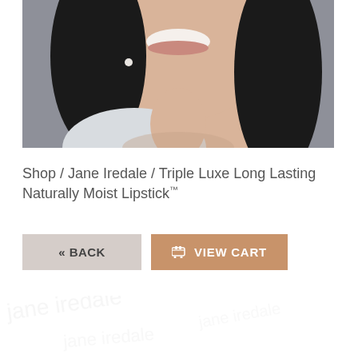[Figure (photo): Close-up photo of a smiling woman with dark hair, resting her chin on her hand, wearing a pearl earring and a light knit scarf, against a gray background]
Shop / Jane Iredale / Triple Luxe Long Lasting Naturally Moist Lipstick™
« BACK
🛒 VIEW CART